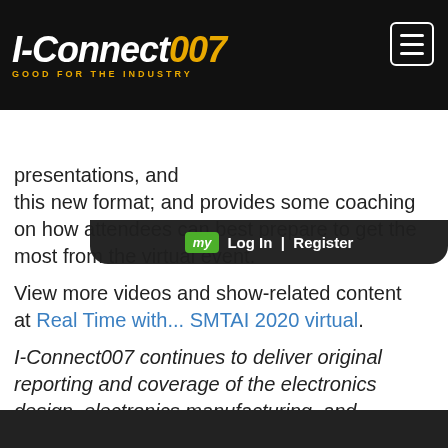I-Connect007 GOOD FOR THE INDUSTRY
presentations, and this new format; and provides some coaching on how attendees can best prepare to get the most from the virtual event.
View more videos and show-related content at Real Time with... SMTAI 2020 virtual.
I-Connect007 continues to deliver original reporting and coverage of the electronics design, electronics manufacturing, and contract manufacturing industries, including up-to-date information from the companies, associations, and supply chains globally. Find